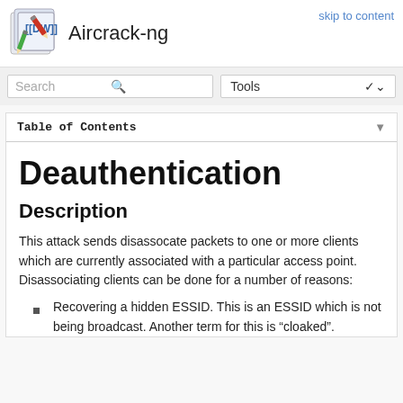Aircrack-ng
skip to content
Deauthentication
Description
This attack sends disassocate packets to one or more clients which are currently associated with a particular access point. Disassociating clients can be done for a number of reasons:
Recovering a hidden ESSID. This is an ESSID which is not being broadcast. Another term for this is “cloaked”.